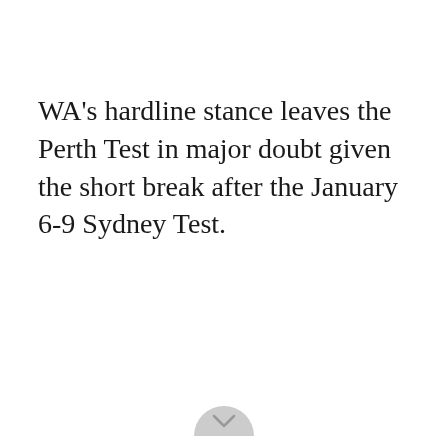WA's hardline stance leaves the Perth Test in major doubt given the short break after the January 6-9 Sydney Test.